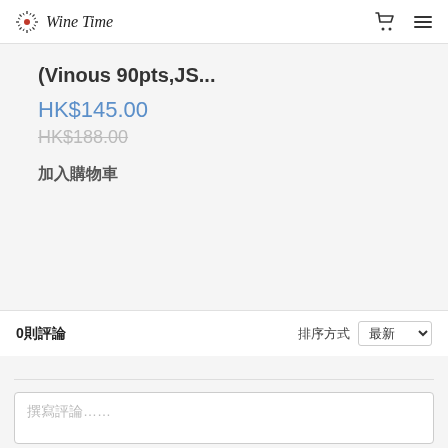Wine Time
(Vinous 90pts,JS...
HK$145.00
HK$188.00
加入購物車
0則評論
排序方式 最新
撰寫評論......